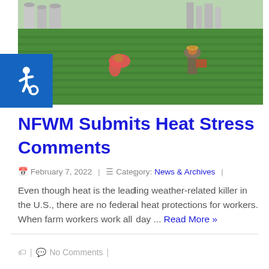[Figure (photo): Two farm workers bent over in a large green field with industrial silos in the background]
NFWM Submits Heat Stress Comments
February 7, 2022 | Category: News & Archives
Even though heat is the leading weather-related killer in the U.S., there are no federal heat protections for workers. When farm workers work all day ... Read More »
No Comments